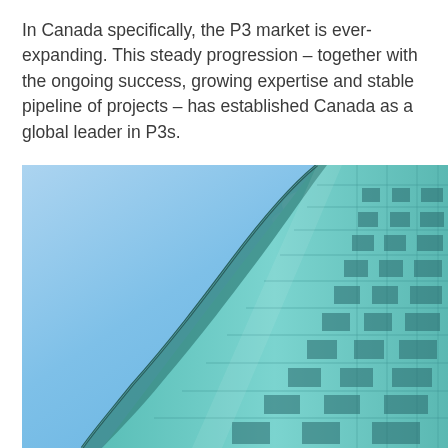In Canada specifically, the P3 market is ever-expanding. This steady progression – together with the ongoing success, growing expertise and stable pipeline of projects – has established Canada as a global leader in P3s.
[Figure (photo): Upward-angle photograph of a modern glass-curtain-wall building against a blue sky, showing the angular peak of the structure with a grid of teal-blue glass panels.]